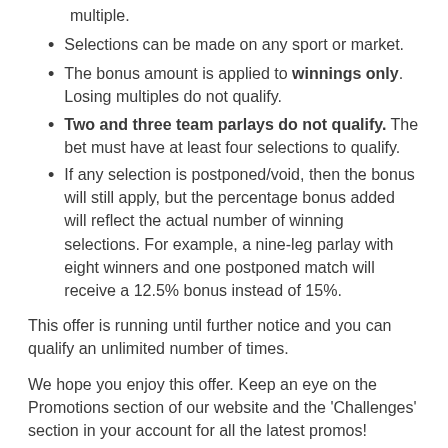multiple.
Selections can be made on any sport or market.
The bonus amount is applied to winnings only. Losing multiples do not qualify.
Two and three team parlays do not qualify. The bet must have at least four selections to qualify.
If any selection is postponed/void, then the bonus will still apply, but the percentage bonus added will reflect the actual number of winning selections. For example, a nine-leg parlay with eight winners and one postponed match will receive a 12.5% bonus instead of 15%.
This offer is running until further notice and you can qualify an unlimited number of times.
We hope you enjoy this offer. Keep an eye on the Promotions section of our website and the 'Challenges' section in your account for all the latest promos!